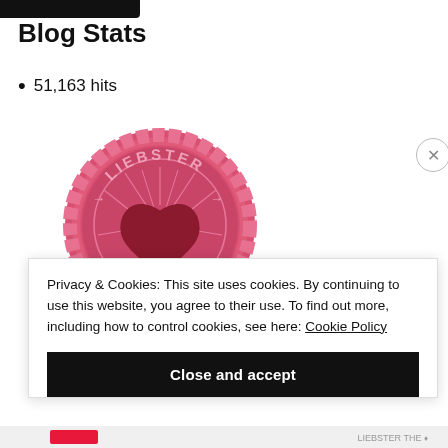Blog Stats
51,163 hits
[Figure (illustration): Liebster Award badge — pink scalloped circle seal with the word LIEBSTER arched at top, arrows pointing to a dark red heart in the center, radiating lines around the heart]
Privacy & Cookies: This site uses cookies. By continuing to use this website, you agree to their use. To find out more, including how to control cookies, see here: Cookie Policy
Close and accept